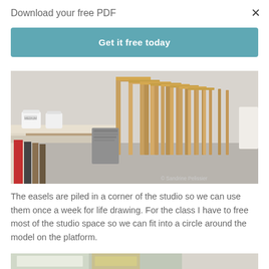Download your free PDF
Get it free today
[Figure (photo): Easels piled in a corner of an art studio, wooden frames stacked together, with paint jars on a white table in the foreground. Copyright Sandrine Pelissier.]
© Sandrine Pelissier
The easels are piled in a corner of the studio so we can use them once a week for life drawing. For the class I have to free most of the studio space so we can fit into a circle around the model on the platform.
[Figure (photo): Partial view of an art studio interior, bottom of page.]